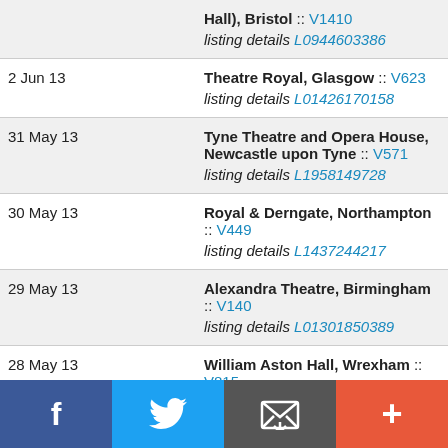| Date | Venue |
| --- | --- |
|  | Hall), Bristol :: V1410
listing details L0944603386 |
| 2 Jun 13 | Theatre Royal, Glasgow :: V623
listing details L01426170158 |
| 31 May 13 | Tyne Theatre and Opera House, Newcastle upon Tyne :: V571
listing details L1958149728 |
| 30 May 13 | Royal & Derngate, Northampton :: V449
listing details L1437244217 |
| 29 May 13 | Alexandra Theatre, Birmingham :: V140
listing details L01301850389 |
| 28 May 13 | William Aston Hall, Wrexham :: V815
listing details L01711549332 |
| 25 May 13 | ICC Belfast, Belfast :: V1053
listing details L01663202418 |
Social share bar: Facebook, Twitter, Email, More